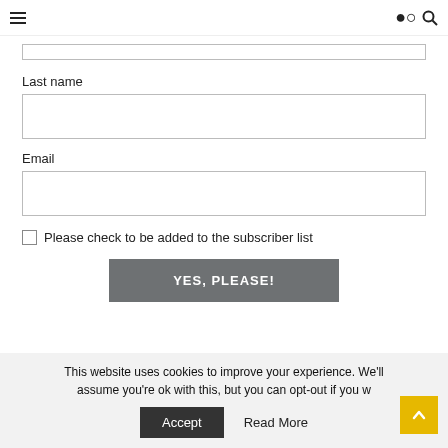Navigation bar with hamburger menu and search icon
Last name
Email
Please check to be added to the subscriber list
YES, PLEASE!
This website uses cookies to improve your experience. We'll assume you're ok with this, but you can opt-out if you w
Accept
Read More